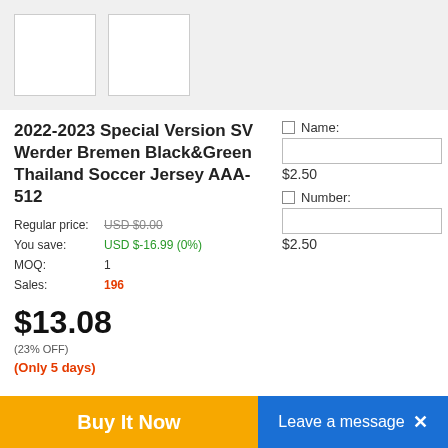[Figure (photo): Product image thumbnail area with two white placeholder boxes on a gray background]
2022-2023 Special Version SV Werder Bremen Black&Green Thailand Soccer Jersey AAA-512
Regular price: USD $0.00
You save: USD $-16.99 (0%)
MOQ: 1
Sales: 196
$13.08
(23% OFF)
(Only 5 days)
Name:
$2.50
Number:
$2.50
Buy It Now   Leave a message  ×